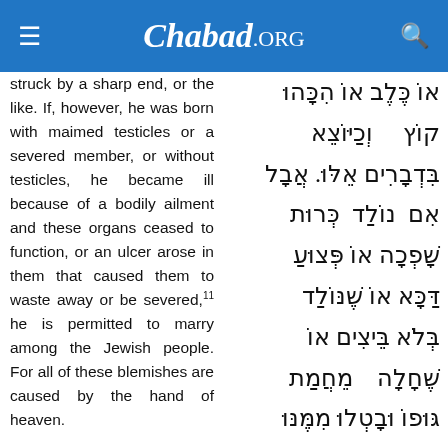Chabad.ORG
struck by a sharp end, or the like. If, however, he was born with maimed testicles or a severed member, or without testicles, he became ill because of a bodily ailment and these organs ceased to function, or an ulcer arose in them that caused them to waste away or be severed,11 he is permitted to marry among the Jewish people. For all of these blemishes are caused by the hand of heaven.
אוֹ כֶּלֶב אוֹ הִכָּהוּ קוֹץ וְכַיּוֹצֵא בִּדְבָרִים אֵלּוּ. אֲבָל אִם נוֹלַד כְּרוּת שָׁפְכָה אוֹ פְּצוּעַ דַּכָּא אוֹ שֶׁנּוֹלַד בְּלֹא בֵּיצִים אוֹ שֶׁחָלָה מֵחֲמַת גּוּפוֹ וּבָטְלוּ מִמֶּנּוּ אֵיבָרִים אֵלּוּ אוֹ